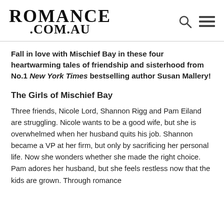[Figure (logo): Romance.com.au website logo in serif bold font]
Fall in love with Mischief Bay in these four heartwarming tales of friendship and sisterhood from No.1 New York Times bestselling author Susan Mallery!
The Girls of Mischief Bay
Three friends, Nicole Lord, Shannon Rigg and Pam Eiland are struggling. Nicole wants to be a good wife, but she is overwhelmed when her husband quits his job. Shannon became a VP at her firm, but only by sacrificing her personal life. Now she wonders whether she made the right choice. Pam adores her husband, but she feels restless now that the kids are grown. Through romance